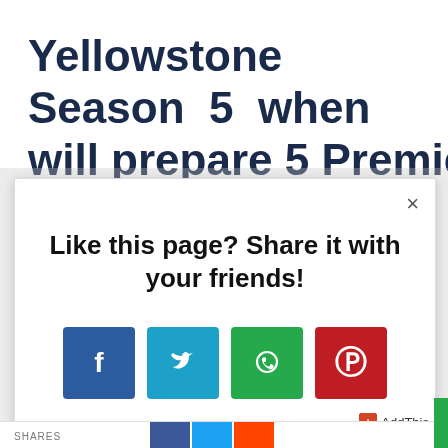Yellowstone Season 5 when will prepare 5 Premier
Like this page? Share it with your friends!
[Figure (screenshot): Social sharing modal popup with close (×) button, bold text 'Like this page? Share it with your friends!', and four social media icon buttons: Facebook (blue), Twitter (cyan), WhatsApp (green), Pinterest (red). AddThis branding in bottom right corner.]